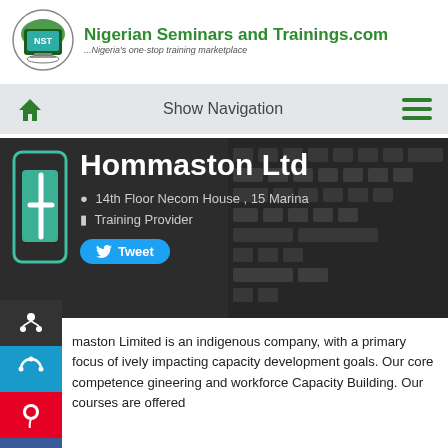[Figure (logo): Nigerian Seminars and Trainings.com logo with circular laptop icon and green text]
Nigerian Seminars and Trainings.com
...Nigeria's one-stop training marketplace
Show Navigation
[Figure (screenshot): Hommaston Ltd company banner on dark background with keyboard imagery. Shows: Hommaston Ltd, 14th Floor Necom House , 15 Marina, Training Provider, Tweet button]
maston Limited is an indigenous company, with a primary focus of ively impacting capacity development goals. Our core competence gineering and workforce Capacity Building. Our courses are offered